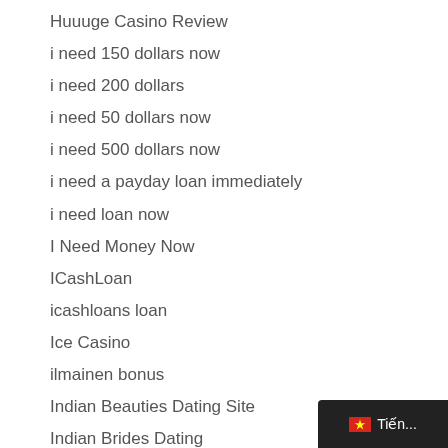Huuuge Casino Review
i need 150 dollars now
i need 200 dollars
i need 50 dollars now
i need 500 dollars now
i need a payday loan immediately
i need loan now
I Need Money Now
ICashLoan
icashloans loan
Ice Casino
ilmainen bonus
Indian Beauties Dating Site
Indian Brides Dating
Indian Brides Mail Order
[Figure (other): Vietnamese language selector tooltip with flag icon showing 'Tiến...' text on dark background]